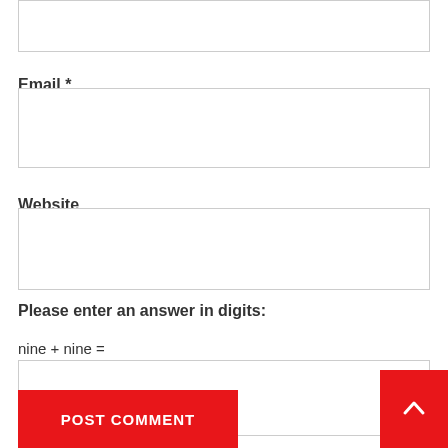(input box — top, partially visible)
Email *
(email input box)
Website
(website input box)
Please enter an answer in digits:
nine + nine =
(answer input box)
POST COMMENT